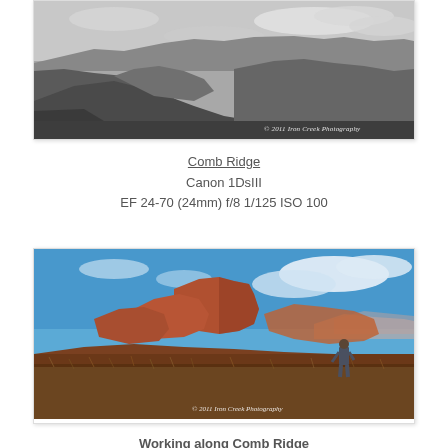[Figure (photo): Black and white landscape photograph of Comb Ridge in Utah, showing dramatic rocky formations against a cloudy sky. Watermark reads '© 2011 Iron Creek Photography'.]
Comb Ridge
Canon 1DsIII
EF 24-70 (24mm) f/8 1/125 ISO 100
[Figure (photo): Color photograph of Comb Ridge showing red rock formations under a bright blue sky with scattered clouds. A single person stands in the foreground looking at the formations. Watermark reads '© 2011 Iron Creek Photography'.]
Working along Comb Ridge
Canon 1DsIII
EF 24-70 (40mm) f/9.1/95 ISO 100